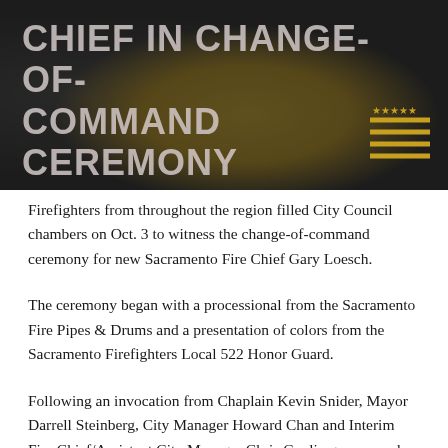[Figure (photo): Dark background photo showing firefighter uniform with gold/yellow helmet and uniform stripes visible. Overlaid large white/gray text reading CHIEF IN CHANGE-OF-COMMAND CEREMONY on a dark semi-transparent overlay.]
CHIEF IN CHANGE-OF-COMMAND CEREMONY
Firefighters from throughout the region filled City Council chambers on Oct. 3 to witness the change-of-command ceremony for new Sacramento Fire Chief Gary Loesch.
The ceremony began with a processional from the Sacramento Fire Pipes & Drums and a presentation of colors from the Sacramento Firefighters Local 522 Honor Guard.
Following an invocation from Chaplain Kevin Snider, Mayor Darrell Steinberg, City Manager Howard Chan and Interim Fire Chief/Assistant City Manager Chris Conlin gave speeches welcoming Loesch to the